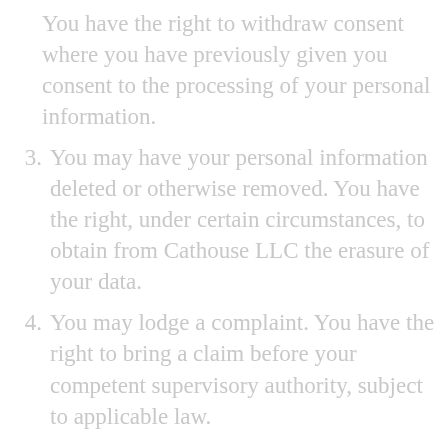You have the right to withdraw consent where you have previously given you consent to the processing of your personal information.
3. You may have your personal information deleted or otherwise removed. You have the right, under certain circumstances, to obtain from Cathouse LLC the erasure of your data.
4. You may lodge a complaint. You have the right to bring a claim before your competent supervisory authority, subject to applicable law.
Any requests to exercise your rights can be directed to Cathouse LLC through the contact details provided below. These requests can be exercised free of charge and will be addressed by